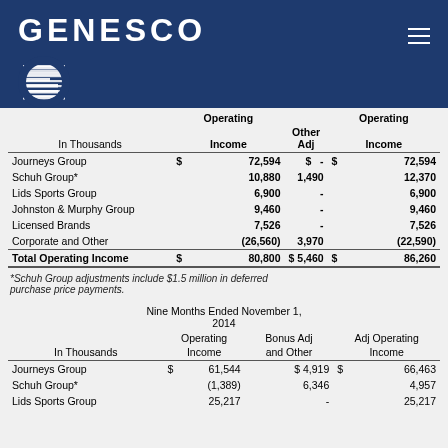[Figure (logo): Genesco logo with GENESCO text and G icon on dark blue background]
| In Thousands | Operating Income | Other Adj | Operating Income |
| --- | --- | --- | --- |
| Journeys Group | $ 72,594 | $ - | $ 72,594 |
| Schuh Group* | 10,880 | 1,490 | 12,370 |
| Lids Sports Group | 6,900 | - | 6,900 |
| Johnston & Murphy Group | 9,460 | - | 9,460 |
| Licensed Brands | 7,526 | - | 7,526 |
| Corporate and Other | (26,560) | 3,970 | (22,590) |
| Total Operating Income | $ 80,800 | $ 5,460 | $ 86,260 |
*Schuh Group adjustments include $1.5 million in deferred purchase price payments.
Nine Months Ended November 1, 2014
| In Thousands | Operating Income | Bonus Adj and Other | Adj Operating Income |
| --- | --- | --- | --- |
| Journeys Group | $ 61,544 | $ 4,919 | $ 66,463 |
| Schuh Group* | (1,389) | 6,346 | 4,957 |
| Lids Sports Group | 25,217 | - | 25,217 |